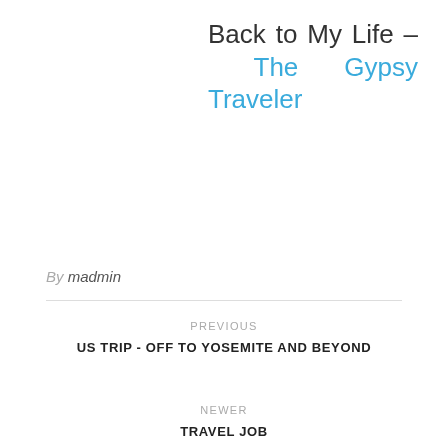Back to My Life – The Gypsy Traveler
By madmin
PREVIOUS
US TRIP - OFF TO YOSEMITE AND BEYOND
NEWER
TRAVEL JOB